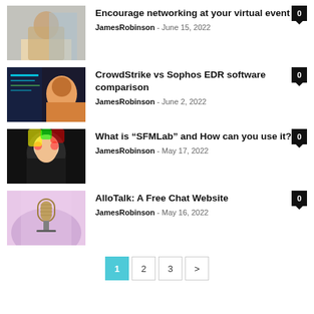[Figure (photo): Woman in professional setting with tablet]
Encourage networking at your virtual event
JamesRobinson - June 15, 2022
[Figure (photo): Two people looking at a screen with tech graphics]
CrowdStrike vs Sophos EDR software comparison
JamesRobinson - June 2, 2022
[Figure (photo): Person with colorful clown face paint]
What is “SFMLab” and How can you use it?
JamesRobinson - May 17, 2022
[Figure (photo): Vintage microphone on purple/pink background]
AlloTalk: A Free Chat Website
JamesRobinson - May 16, 2022
Pagination: 1, 2, 3, >